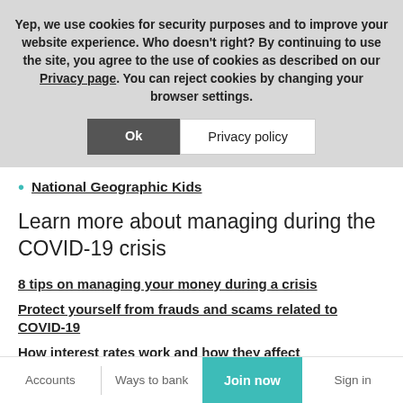Yep, we use cookies for security purposes and to improve your website experience. Who doesn't right? By continuing to use the site, you agree to the use of cookies as described on our Privacy page. You can reject cookies by changing your browser settings.
National Geographic Kids
Learn more about managing during the COVID-19 crisis
8 tips on managing your money during a crisis
Protect yourself from frauds and scams related to COVID-19
How interest rates work and how they affect
Accounts | Ways to bank | Join now | Sign in